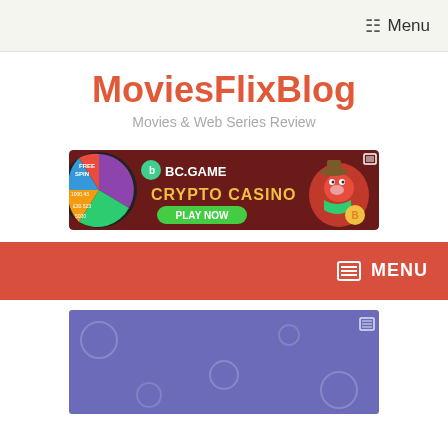Menu
MoviesFlixBlog
Movies & Web Series Review
[Figure (infographic): BC.GAME Crypto Casino advertisement banner with FREE SPIN wheel, text 'CRYPTO CASINO' and 'PLAY NOW' button, featuring a cartoon hippo character]
MENU
[Figure (infographic): Purple/blue advertisement banner with decorative circle outlines pattern and a small icon in top right corner]